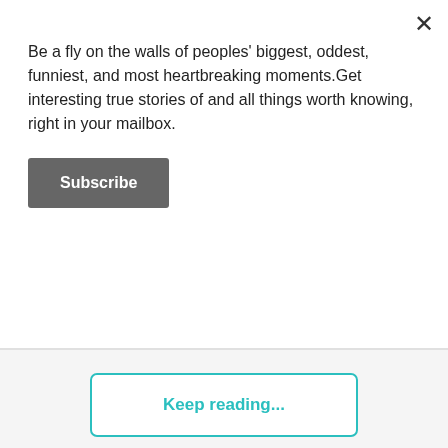Be a fly on the walls of peoples' biggest, oddest, funniest, and most heartbreaking moments.Get interesting true stories of and all things worth knowing, right in your mailbox.
Subscribe
Keep reading...
Illness
You May Like
Sponsored Links by Taboola
Gourmet, Fresh, Big Cookies